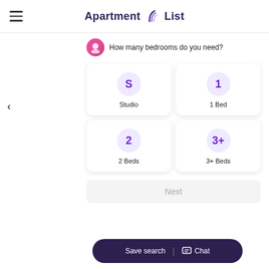Apartment List
Sort by Last upda
Budget
[Figure (photo): Exterior photo of a house with garage and lawn]
1 Unit Available
2 Henry Street
2 North Henr
North Valley
How many bedrooms do you need?
Studio
1 Bed
2 Beds
3+ Beds
Next
Save search | Chat